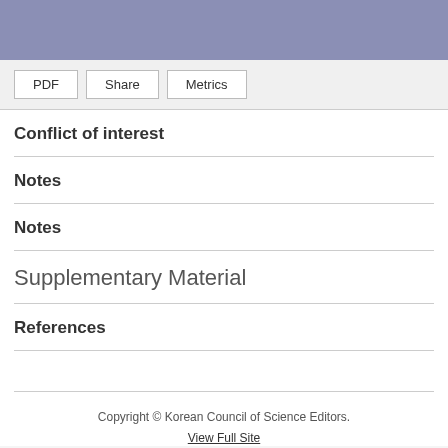PDF | Share | Metrics
Conflict of interest
Notes
Notes
Supplementary Material
References
Copyright © Korean Council of Science Editors. View Full Site